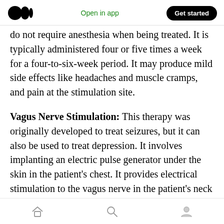Medium logo | Open in app | Get started
do not require anesthesia when being treated. It is typically administered four or five times a week for a four-to-six-week period. It may produce mild side effects like headaches and muscle cramps, and pain at the stimulation site.
Vagus Nerve Stimulation: This therapy was originally developed to treat seizures, but it can also be used to treat depression. It involves implanting an electric pulse generator under the skin in the patient's chest. It provides electrical stimulation to the vagus nerve in the patient's neck that may lead to an increase in serotonin.
Home | Search | Profile